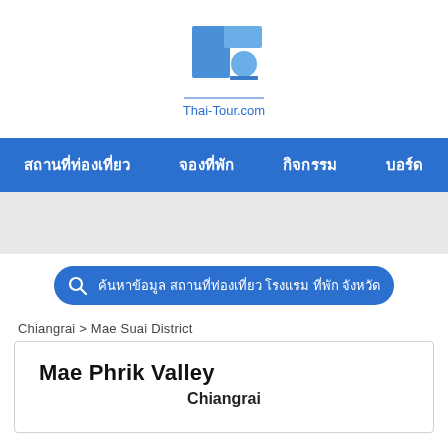[Figure (logo): Thai-Tour.com logo: blue geometric T-shape icon with circle, text Thai-Tour.com below in blue]
สถานที่ท่องเที่ยว  จองที่พัก  กิจกรรม  บอร์ด
ค้นหาข้อมูล สถานที่ท่องเที่ยว โรงแรม ที่พัก จังหวัด
Chiangrai > Mae Suai District
Mae Phrik Valley
Chiangrai